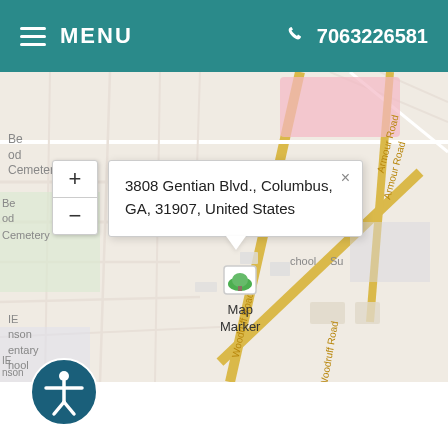MENU  7063226581
[Figure (map): Street map showing 3808 Gentian Blvd., Columbus, GA, 31907, United States with a map marker. Map includes streets Woodruff Road and Warm Springs Rd. Popup shows address. Leaflet map data provided by Internet Brands.]
3808 Gentian Blvd., Columbus, GA, 31907, United States
Leaflet | Map data provided by Internet Brands
[Figure (illustration): Accessibility icon button - circular dark teal button with white person figure with arms outstretched]